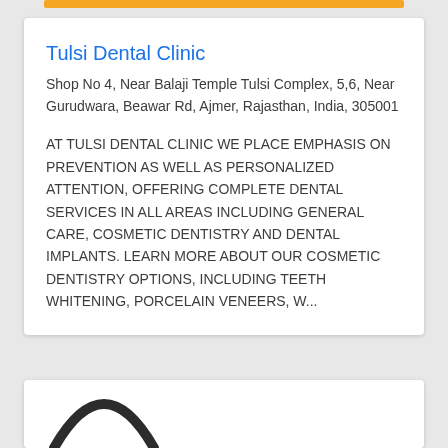Tulsi Dental Clinic
Shop No 4, Near Balaji Temple Tulsi Complex, 5,6, Near Gurudwara, Beawar Rd, Ajmer, Rajasthan, India, 305001
AT TULSI DENTAL CLINIC WE PLACE EMPHASIS ON PREVENTION AS WELL AS PERSONALIZED ATTENTION, OFFERING COMPLETE DENTAL SERVICES IN ALL AREAS INCLUDING GENERAL CARE, COSMETIC DENTISTRY AND DENTAL IMPLANTS. LEARN MORE ABOUT OUR COSMETIC DENTISTRY OPTIONS, INCLUDING TEETH WHITENING, PORCELAIN VENEERS, W...
[Figure (illustration): Partial arc/logo icon visible at bottom of page in a second card]